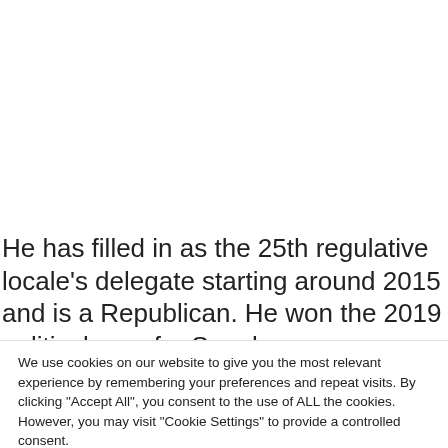He has filled in as the 25th regulative locale's delegate starting around 2015 and is a Republican. He won the 2019 political race for Speaker.
We use cookies on our website to give you the most relevant experience by remembering your preferences and repeat visits. By clicking "Accept All", you consent to the use of ALL the cookies. However, you may visit "Cookie Settings" to provide a controlled consent.
[Figure (photo): Woman drinking from a cup or bottle, advertisement image for Ka'Chava]
Why Ka'Chava is a label-reader's dream
Kachava | Sponsored